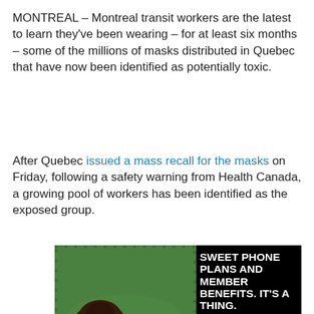MONTREAL – Montreal transit workers are the latest to learn they've been wearing – for at least six months – some of the millions of masks distributed in Quebec that have now been identified as potentially toxic.
After Quebec issued a mass recall for the masks on Friday, following a safety warning from Health Canada, a growing pool of workers has been identified as the exposed group.
[Figure (photo): Advertisement for Virgin Mobile showing a woman lying on grass smiling and holding a phone, with text 'Sweet Phone Plans and Member Benefits. It's a Thing. Data Plans for $28/mo.' and Virgin logo in bottom right.]